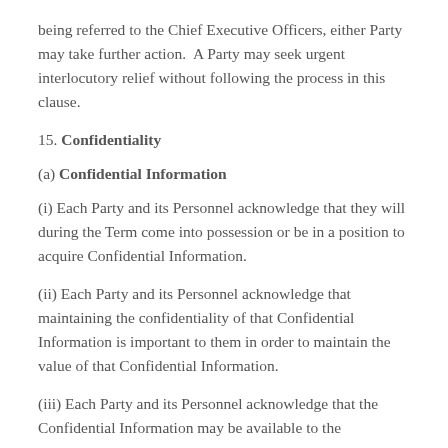being referred to the Chief Executive Officers, either Party may take further action.  A Party may seek urgent interlocutory relief without following the process in this clause.
15. Confidentiality
(a) Confidential Information
(i) Each Party and its Personnel acknowledge that they will during the Term come into possession or be in a position to acquire Confidential Information.
(ii) Each Party and its Personnel acknowledge that maintaining the confidentiality of that Confidential Information is important to them in order to maintain the value of that Confidential Information.
(iii) Each Party and its Personnel acknowledge that the Confidential Information may be available to the